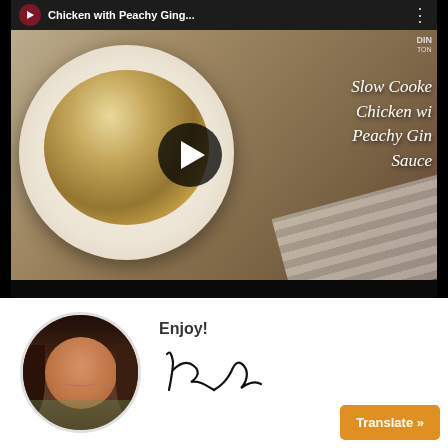[Figure (screenshot): Embedded YouTube-style video thumbnail showing a plate of Slow Cooker Chicken with Peachy Ginger Sauce. The video has a dark top bar with title 'Chicken with Peachy Ging...' and a play button overlay. Cursive white text on image reads 'Slow Cooker Chicken with Peachy Ginger Sauce'. A watermark logo appears top right.]
[Figure (photo): Circular headshot photo of a smiling young woman with long brown highlighted hair, wearing a light lace top, photographed outdoors with greenery in background.]
Enjoy!
[Figure (illustration): Handwritten cursive signature]
Translate »